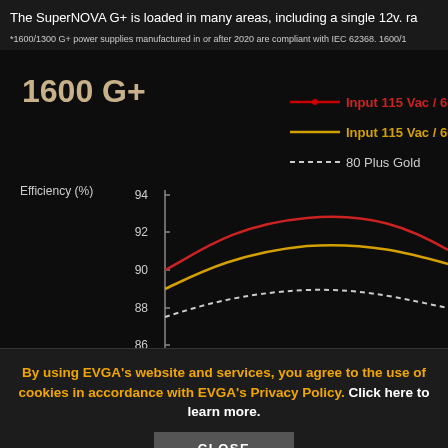The SuperNOVA G+ is loaded in many areas, including a single 12v. ra
*1600/1300 G+ power supplies manufactured in or after 2020 are compliant with IEC 62368. 1600/1
[Figure (line-chart): 1600 G+]
By using EVGA's website and services, you agree to the use of cookies in accordance with EVGA's Privacy Policy. Click here to learn more.
CLOSE